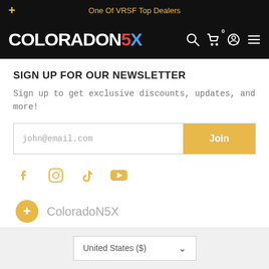One Of VRSF Top Dealers
[Figure (logo): ColoradoN5X logo in white, red, and blue on black background with navigation icons]
SIGN UP FOR OUR NEWSLETTER
Sign up to get exclusive discounts, updates, and more!
[Figure (other): Email input field with placeholder john@email.com and yellow Join button]
[Figure (other): Social media icons: Facebook, Instagram, TikTok, YouTube in yellow/gold color]
ColoradoN5X
United States ($)